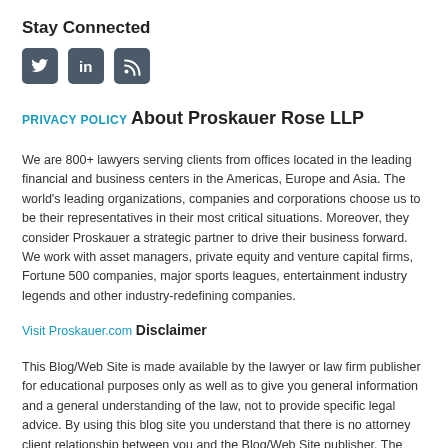Stay Connected
[Figure (illustration): Three social media icons: Twitter (bird), LinkedIn (in), and RSS feed (wifi symbol), each in a dark grey/teal square rounded rectangle]
PRIVACY POLICY
About Proskauer Rose LLP
We are 800+ lawyers serving clients from offices located in the leading financial and business centers in the Americas, Europe and Asia. The world's leading organizations, companies and corporations choose us to be their representatives in their most critical situations. Moreover, they consider Proskauer a strategic partner to drive their business forward. We work with asset managers, private equity and venture capital firms, Fortune 500 companies, major sports leagues, entertainment industry legends and other industry-redefining companies.
Visit Proskauer.com
Disclaimer
This Blog/Web Site is made available by the lawyer or law firm publisher for educational purposes only as well as to give you general information and a general understanding of the law, not to provide specific legal advice. By using this blog site you understand that there is no attorney client relationship between you and the Blog/Web Site publisher. The Blog/Web Site should not be used as a substitute for competent legal advice from a licensed professional attorney in your state.